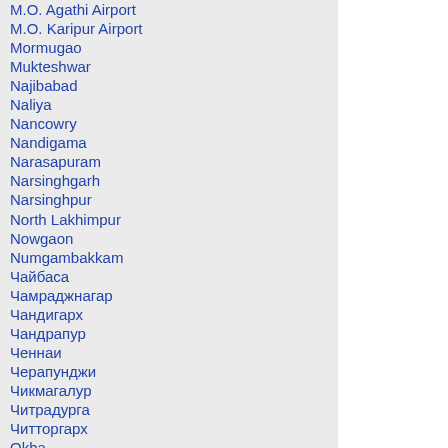M.O. Agathi Airport
M.O. Karipur Airport
Mormugao
Mukteshwar
Najibabad
Naliya
Nancowry
Nandigama
Narasapuram
Narsinghgarh
Narsinghpur
North Lakhimpur
Nowgaon
Numgambakkam
Чайбаса
Чамраджнагар
Чандигарх
Чандрапур
Ченнаи
Черапунджи
Чикмагалур
Читрадурга
Читторгарх
Okha
Чуру
Чхапра
Чхиндвара
Шахджаханпур
Шивпури
Шиллонг
Шимла
Шимога